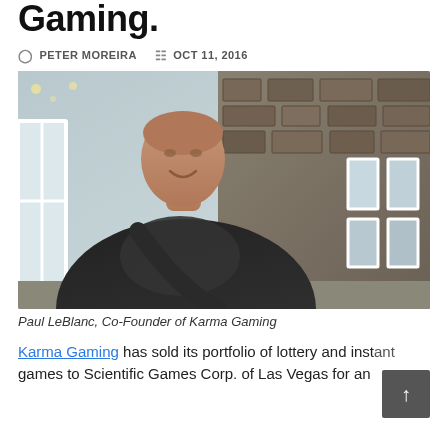Gaming.
PETER MOREIRA   OCT 11, 2016
[Figure (photo): Paul LeBlanc, Co-Founder of Karma Gaming, wearing a black leather jacket and dark scarf, standing in front of a stone building with white-framed windows.]
Paul LeBlanc, Co-Founder of Karma Gaming
Karma Gaming has sold its portfolio of lottery and instant games to Scientific Games Corp. of Las Vegas for an